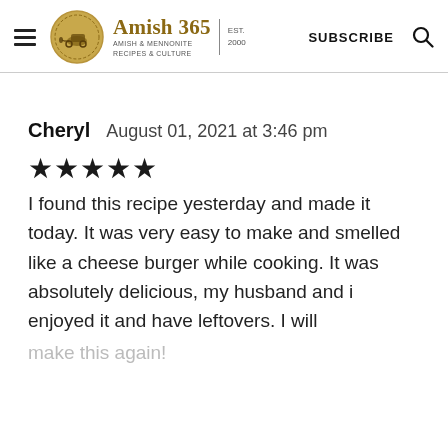Amish 365 — AMISH & MENNONITE RECIPES & CULTURE | EST. 2000 | SUBSCRIBE
Cheryl   August 01, 2021 at 3:46 pm
★★★★★ I found this recipe yesterday and made it today. It was very easy to make and smelled like a cheese burger while cooking. It was absolutely delicious, my husband and i enjoyed it and have leftovers. I will make this again!